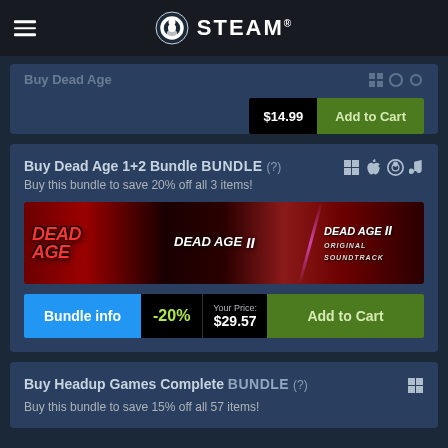STEAM
Buy Dead Age (partial, cropped)
$14.99  Add to Cart
Buy Dead Age 1+2 Bundle BUNDLE (?)
Buy this bundle to save 20% off all 3 items!
[Figure (illustration): Dead Age 1+2 Bundle banner showing three panels: Dead Age (red horror text), Dead Age II, and Dead Age II Original Soundtrack]
Bundle info  -20%  Your Price: $29.57  Add to Cart
Buy Headup Games Complete BUNDLE (?)
Buy this bundle to save 15% off all 57 items!